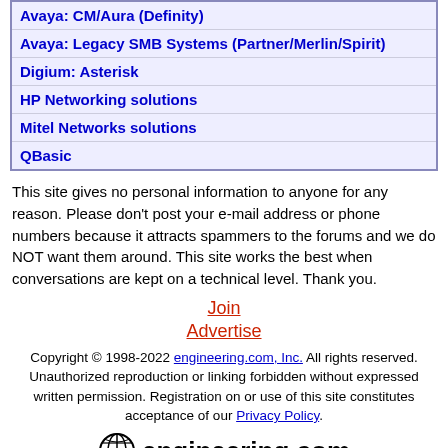Avaya: CM/Aura (Definity)
Avaya: Legacy SMB Systems (Partner/Merlin/Spirit)
Digium: Asterisk
HP Networking solutions
Mitel Networks solutions
QBasic
This site gives no personal information to anyone for any reason. Please don't post your e-mail address or phone numbers because it attracts spammers to the forums and we do NOT want them around. This site works the best when conversations are kept on a technical level. Thank you.
Join
Advertise
Copyright © 1998-2022 engineering.com, Inc. All rights reserved. Unauthorized reproduction or linking forbidden without expressed written permission. Registration on or use of this site constitutes acceptance of our Privacy Policy.
[Figure (logo): engineering.com logo with globe icon]